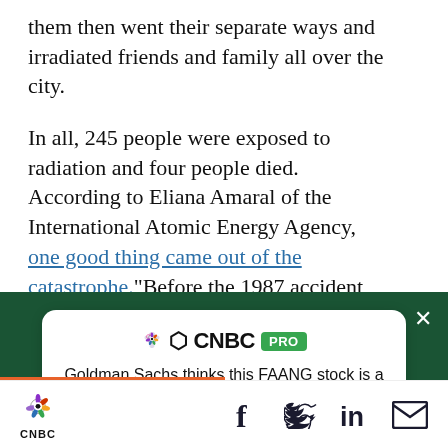them then went their separate ways and irradiated friends and family all over the city.
In all, 245 people were exposed to radiation and four people died. According to Eliana Amaral of the International Atomic Energy Agency, one good thing came out of the catastrophe. “Before the 1987 accident, there was no awareness that
[Figure (other): CNBC PRO advertisement card on dark green background: headline 'Goldman Sachs thinks this FAANG stock is a sell — and gives it downside of more than 20%' with a green SUBSCRIBE NOW button. Close X button in top right.]
CNBC logo with peacock icon; social sharing icons: Facebook, Twitter, LinkedIn, Email